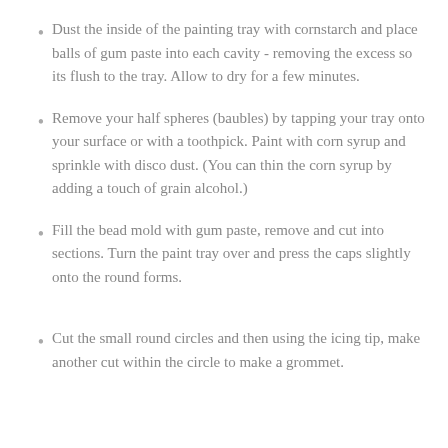Dust the inside of the painting tray with cornstarch and place balls of gum paste into each cavity - removing the excess so its flush to the tray. Allow to dry for a few minutes.
Remove your half spheres (baubles) by tapping your tray onto your surface or with a toothpick. Paint with corn syrup and sprinkle with disco dust. (You can thin the corn syrup by adding a touch of grain alcohol.)
Fill the bead mold with gum paste, remove and cut into sections. Turn the paint tray over and press the caps slightly onto the round forms.
Cut the small round circles and then using the icing tip, make another cut within the circle to make a grommet.